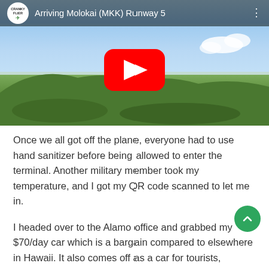[Figure (screenshot): YouTube video thumbnail showing aerial view of Molokai island landscape with blue sky. Top bar shows Cranky Flier logo and title 'Arriving Molokai (MKK) Runway 5'. Red YouTube play button centered on image.]
Once we all got off the plane, everyone had to use hand sanitizer before being allowed to enter the terminal. Another military member took my temperature, and I got my QR code scanned to let me in.
I headed over to the Alamo office and grabbed my $70/day car which is a bargain compared to elsewhere in Hawaii. It also comes off as a car for tourists,